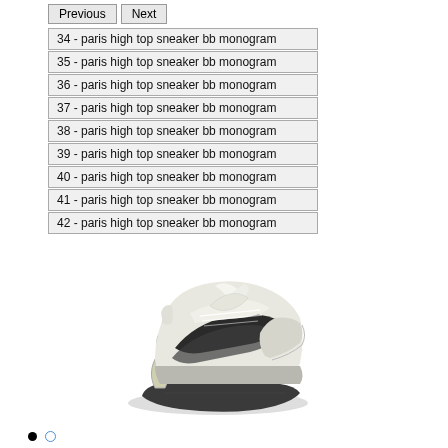Previous
Next
34 - paris high top sneaker bb monogram
35 - paris high top sneaker bb monogram
36 - paris high top sneaker bb monogram
37 - paris high top sneaker bb monogram
38 - paris high top sneaker bb monogram
39 - paris high top sneaker bb monogram
40 - paris high top sneaker bb monogram
41 - paris high top sneaker bb monogram
42 - paris high top sneaker bb monogram
[Figure (photo): A white and dark grey/black Balenciaga Paris high top sneaker with thick sole and spring-like heel element, viewed from a three-quarter angle]
● ◌